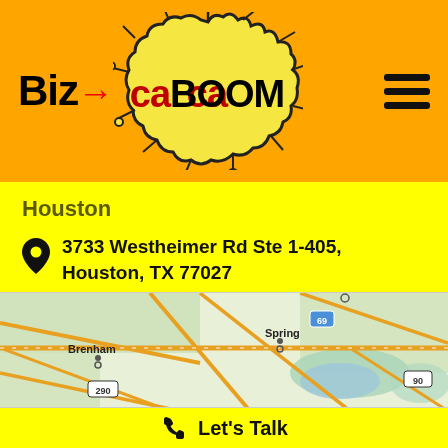[Figure (logo): BizCaBOOM logo with explosion graphic on orange background with hamburger menu icon]
Houston
3733 Westheimer Rd Ste 1-405, Houston, TX 77027
[Figure (map): Google Maps showing Houston TX area with Brenham, Spring, highways 290, 69, 90 visible]
Let's Talk